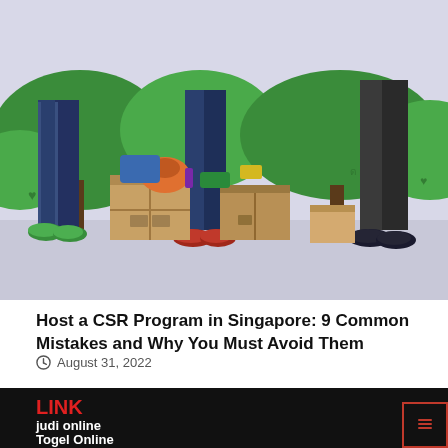[Figure (illustration): Illustration of people donating or moving boxes and clothing items, with a green outdoor background. Shows legs and lower bodies of multiple people with cardboard boxes and colorful clothes scattered on the ground.]
Host a CSR Program in Singapore: 9 Common Mistakes and Why You Must Avoid Them
August 31, 2022
LINK
judi online
Togel Online